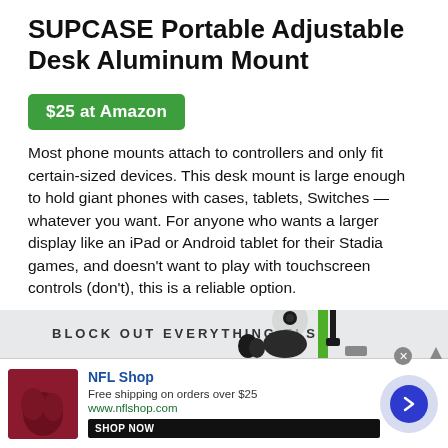SUPCASE Portable Adjustable Desk Aluminum Mount
$25 at Amazon
Most phone mounts attach to controllers and only fit certain-sized devices. This desk mount is large enough to hold giant phones with cases, tablets, Switches — whatever you want. For anyone who wants a larger display like an iPad or Android tablet for their Stadia games, and doesn't want to play with touchscreen controls (don't), this is a reliable option.
[Figure (photo): Advertisement banner showing earphones/headphones with text 'BLOCK OUT EVERYTHING ELSE' and NFL Shop ad at the bottom with shop now button and arrow circle.]